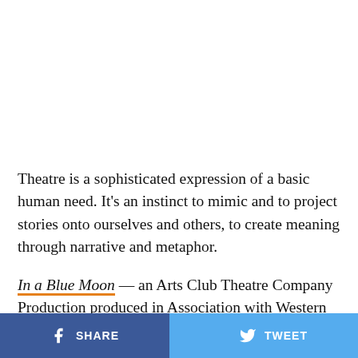Theatre is a sophisticated expression of a basic human need. It's an instinct to mimic and to project stories onto ourselves and others, to create meaning through narrative and metaphor.
In a Blue Moon — an Arts Club Theatre Company Production produced in Association with Western Canada Theatre (Kamloops) and Thousand Islands Playhouse (Gananoque, ON) — is a love letter expressed
SHARE   TWEET   ...